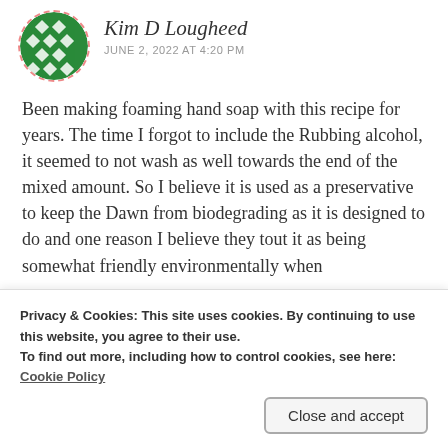[Figure (illustration): Green diamond-pattern avatar icon in a circle with dashed pink/red border]
Kim D Lougheed
JUNE 2, 2022 AT 4:20 PM
Been making foaming hand soap with this recipe for years. The time I forgot to include the Rubbing alcohol, it seemed to not wash as well towards the end of the mixed amount. So I believe it is used as a preservative to keep the Dawn from biodegrading as it is designed to do and one reason I believe they tout it as being somewhat friendly environmentally when
Privacy & Cookies: This site uses cookies. By continuing to use this website, you agree to their use.
To find out more, including how to control cookies, see here:
Cookie Policy
Close and accept